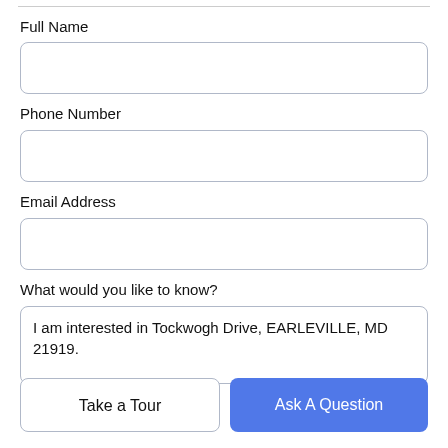Full Name
[Figure (other): Empty text input box for Full Name]
Phone Number
[Figure (other): Empty text input box for Phone Number]
Email Address
[Figure (other): Empty text input box for Email Address]
What would you like to know?
[Figure (other): Text area with pre-filled text: I am interested in Tockwogh Drive, EARLEVILLE, MD 21919.]
Take a Tour
Ask A Question